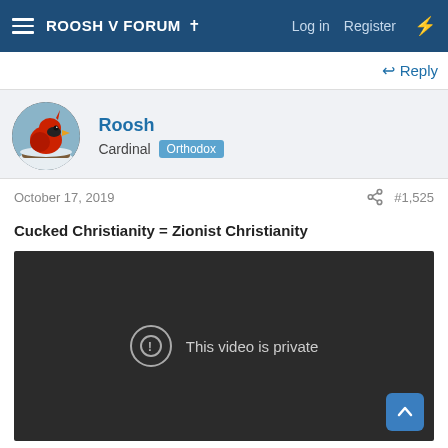ROOSH V FORUM ✝  Log in  Register
↩ Reply
[Figure (photo): Avatar of user Roosh: a red cardinal bird perched on a snowy branch]
Roosh
Cardinal  Orthodox
October 17, 2019  #1,525
Cucked Christianity = Zionist Christianity
[Figure (screenshot): Embedded YouTube video player showing 'This video is private' error message on dark background]